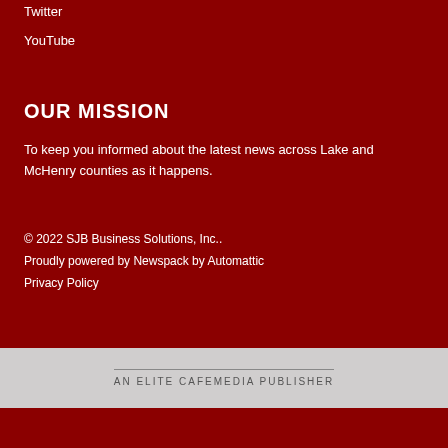Twitter
YouTube
OUR MISSION
To keep you informed about the latest news across Lake and McHenry counties as it happens.
© 2022 SJB Business Solutions, Inc..
Proudly powered by Newspack by Automattic
Privacy Policy
AN ELITE CAFEMEDIA PUBLISHER